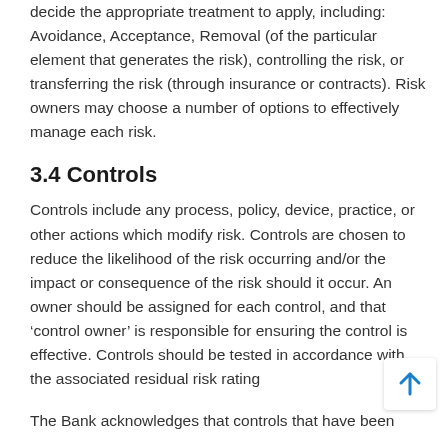decide the appropriate treatment to apply, including: Avoidance, Acceptance, Removal (of the particular element that generates the risk), controlling the risk, or transferring the risk (through insurance or contracts). Risk owners may choose a number of options to effectively manage each risk.
3.4 Controls
Controls include any process, policy, device, practice, or other actions which modify risk. Controls are chosen to reduce the likelihood of the risk occurring and/or the impact or consequence of the risk should it occur. An owner should be assigned for each control, and that ‘control owner’ is responsible for ensuring the control is effective. Controls should be tested in accordance with the associated residual risk rating
The Bank acknowledges that controls that have been